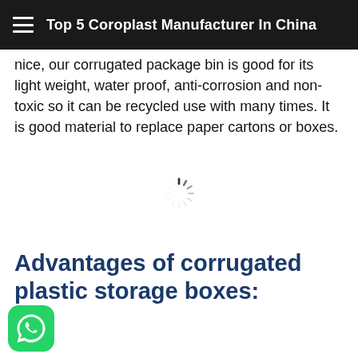Top 5 Coroplast Manufacturer In China
nice, our corrugated package bin is good for its light weight, water proof, anti-corrosion and non-toxic so it can be recycled use with many times. It is good material to replace paper cartons or boxes.
[Figure (other): Loading spinner icon (animated loading indicator)]
Advantages of corrugated plastic storage boxes: